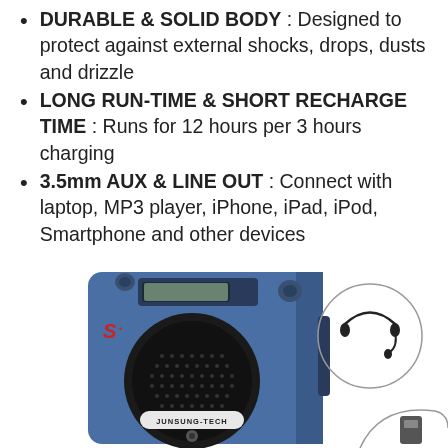DURABLE & SOLID BODY : Designed to protect against external shocks, drops, dusts and drizzle
LONG RUN-TIME & SHORT RECHARGE TIME : Runs for 12 hours per 3 hours charging
3.5mm AUX & LINE OUT : Connect with laptop, MP3 player, iPhone, iPad, iPod, Smartphone and other devices
[Figure (photo): Blue portable voice amplifier speaker (JUNSUNG-TECH brand) with a headset microphone accessory shown in a circle to the right, and a partial second circle at bottom right]